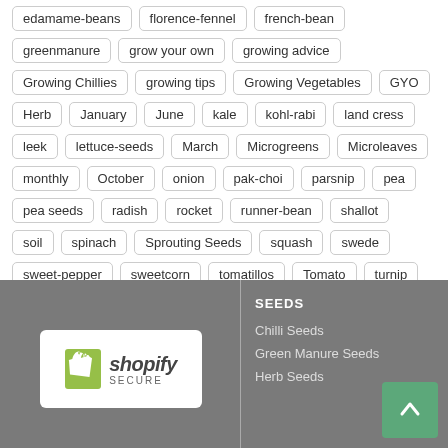edamame-beans
florence-fennel
french-bean
greenmanure
grow your own
growing advice
Growing Chillies
growing tips
Growing Vegetables
GYO
Herb
January
June
kale
kohl-rabi
land cress
leek
lettuce-seeds
March
Microgreens
Microleaves
monthly
October
onion
pak-choi
parsnip
pea
pea seeds
radish
rocket
runner-bean
shallot
soil
spinach
Sprouting Seeds
squash
swede
sweet-pepper
sweetcorn
tomatillos
Tomato
turnip
Veg
vegetable seeds
Yellow Trefoil
SEEDS | Chilli Seeds | Green Manure Seeds | Herb Seeds
[Figure (logo): Shopify Secure badge logo]